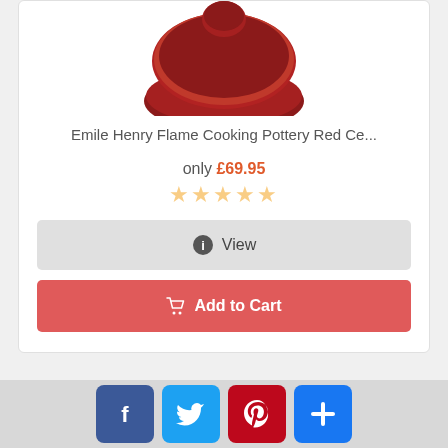[Figure (photo): Emile Henry red ceramic cookware with lid, partial top view]
Emile Henry Flame Cooking Pottery Red Ce...
only £69.95
☆☆☆☆☆ (empty star rating)
ℹ View
🛒 Add to Cart
[Figure (photo): Orange and black tagine/tajine ceramic cookware]
Facebook Twitter Pinterest Share (social media buttons)